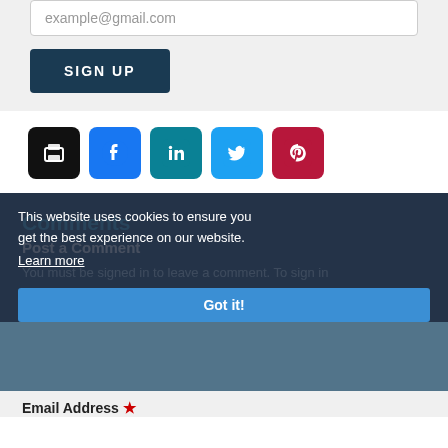example@gmail.com
SIGN UP
[Figure (infographic): Row of 5 social/action icon buttons: print (black), Facebook (blue), LinkedIn (teal), Twitter (light blue), Pinterest (red)]
Comments
Post a Comment
You must be signed in to leave a comment. To sign in or create an account, enter your email address and we'll send you a one-click sign-in link.
This website uses cookies to ensure you get the best experience on our website.
Learn more
Got it!
Email Address *